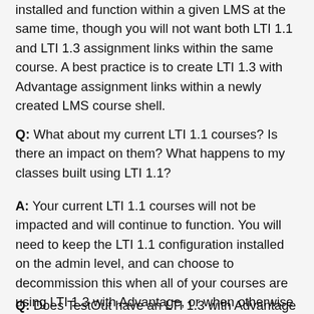installed and function within a given LMS at the same time, though you will not want both LTI 1.1 and LTI 1.3 assignment links within the same course. A best practice is to create LTI 1.3 with Advantage assignment links within a newly created LMS course shell.
Q: What about my current LTI 1.1 courses? Is there an impact on them? What happens to my classes built using LTI 1.1?
A: Your current LTI 1.1 courses will not be impacted and will continue to function. You will need to keep the LTI 1.1 configuration installed on the admin level, and can choose to decommission this when all of your courses are using LTI 1.3 with Advantage, or when otherwise makes sense to you.
Q: Does TestOut have an LTI 1.3 with Advantage